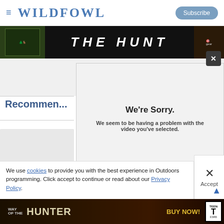WILDFOWL — Subscribe
[Figure (screenshot): THE HUNT advertisement banner]
[Figure (screenshot): Video error overlay: We're Sorry. We seem to be having a problem with the video you've selected. Error code shown at bottom.]
Recommen...
We use cookies to provide you with the best experience in Outdoors programming. Click accept to continue or read about our Privacy Policy.
[Figure (screenshot): WAY OF THE HUNTER — BUY NOW! advertisement banner with ESRB Teen rating]